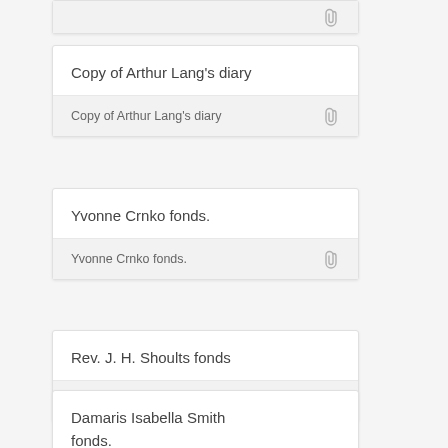Copy of Arthur Lang's diary
Yvonne Crnko fonds.
Rev. J. H. Shoults fonds
Damaris Isabella Smith fonds.